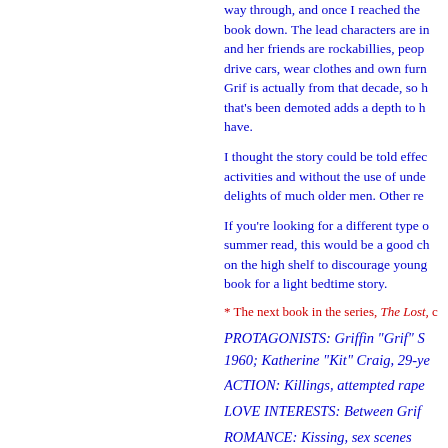way through, and once I reached the book down. The lead characters are i and her friends are rockabillies, peop drive cars, wear clothes and own furn Grif is actually from that decade, so h that's been demoted adds a depth to h have.
I thought the story could be told effe activities and without the use of unde delights of much older men. Other re
If you're looking for a different type summer read, this would be a good ch on the high shelf to discourage young book for a light bedtime story.
* The next book in the series, The Lost, c
PROTAGONISTS: Griffin "Grif" S 1960; Katherine "Kit" Craig, 29-ye
ACTION: Killings, attempted rape
LOVE INTERESTS: Between Grif
ROMANCE: Kissing, sex scenes
QUIRKINESS: Kit's rockabilly lifes